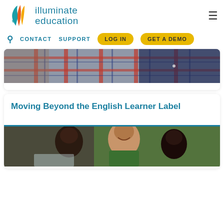[Figure (logo): Illuminate Education logo with flame/leaf icon and teal text]
CONTACT   SUPPORT   LOG IN   GET A DEMO
[Figure (photo): Close-up photo of students in plaid shirts working at desks in a classroom]
Moving Beyond the English Learner Label
[Figure (photo): Photo of a smiling teacher with students looking at a computer screen]